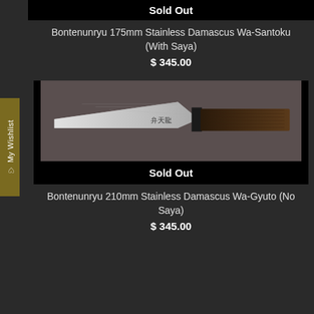Sold Out
Bontenunryu 175mm Stainless Damascus Wa-Santoku (With Saya)
$ 345.00
[Figure (photo): Japanese kitchen knife (Wa-Santoku) with Damascus stainless steel blade and dark wood handle on a dark background, with 'Sold Out' overlay button]
Sold Out
Bontenunryu 210mm Stainless Damascus Wa-Gyuto (No Saya)
$ 345.00